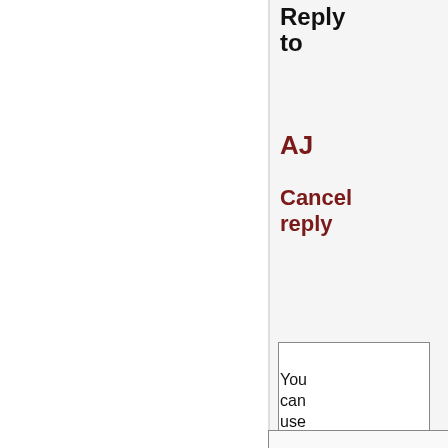Reply to
AJ
Cancel reply
You can use these HTML tags